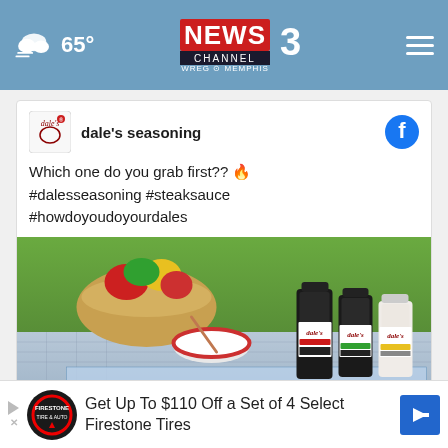65° NEWS CHANNEL 3 WREG MEMPHIS
[Figure (screenshot): Facebook post from dale's seasoning with photo of three Dale's Seasoning sauce bottles on a picnic table with a basket of peppers and a bowl in the background. Post text: 'Which one do you grab first?? 🔥 #dalesseasoning #steaksauce #howdoyoudoyourdales'. Ad overlay at bottom: 'DALE'S SEASONING' with close button.]
Get Up To $110 Off a Set of 4 Select Firestone Tires